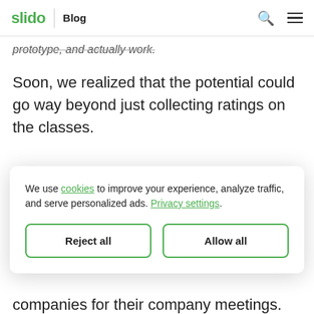slido | Blog
prototype, and actually work.
Soon, we realized that the potential could go way beyond just collecting ratings on the classes.
We use cookies to improve your experience, analyze traffic, and serve personalized ads. Privacy settings.
Reject all | Allow all
companies for their company meetings.